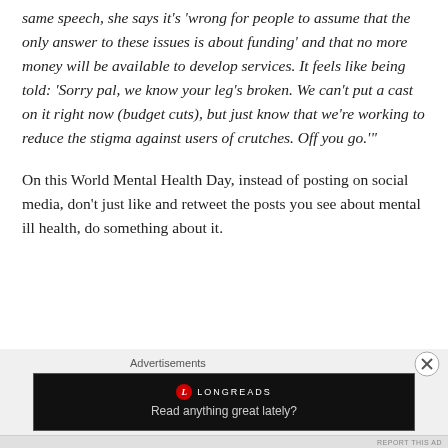same speech, she says it's 'wrong for people to assume that the only answer to these issues is about funding' and that no more money will be available to develop services. It feels like being told: 'Sorry pal, we know your leg's broken. We can't put a cast on it right now (budget cuts), but just know that we're working to reduce the stigma against users of crutches. Off you go.'
On this World Mental Health Day, instead of posting on social media, don't just like and retweet the posts you see about mental ill health, do something about it.
[Figure (other): Longreads advertisement banner with dark background, Longreads logo and tagline 'Read anything great lately?']